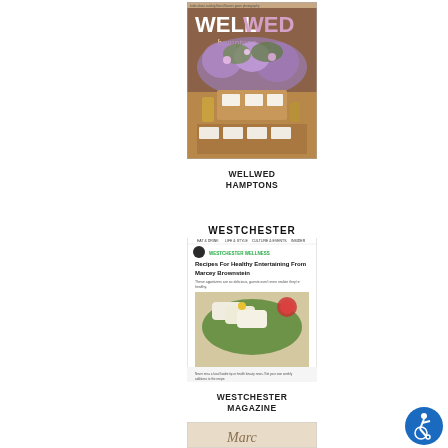[Figure (photo): Magazine cover of WellWed Hamptons showing a floral wedding table display with purple flowers and place cards]
WELLWED HAMPTONS
[Figure (screenshot): Screenshot of Westchester Magazine website showing article 'Recipes For Healthy Entertaining From Marcey Brownstein' with food photo]
WESTCHESTER MAGAZINE
[Figure (photo): Partially visible magazine cover at bottom of page]
[Figure (logo): Accessibility icon - blue circle with wheelchair symbol]